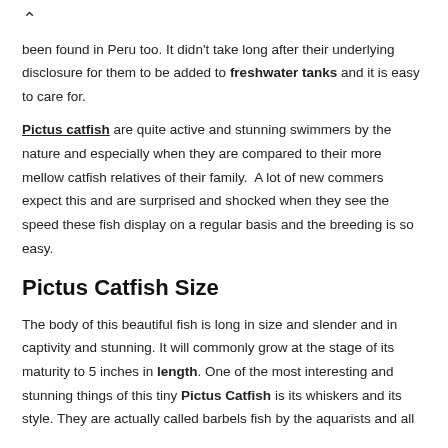from this area and found in many other places and it has been found in Peru too. It didn't take long after their underlying disclosure for them to be added to freshwater tanks and it is easy to care for.
Pictus catfish are quite active and stunning swimmers by the nature and especially when they are compared to their more mellow catfish relatives of their family. A lot of new commers expect this and are surprised and shocked when they see the speed these fish display on a regular basis and the breeding is so easy.
Pictus Catfish Size
The body of this beautiful fish is long in size and slender and in captivity and stunning. It will commonly grow at the stage of its maturity to 5 inches in length. One of the most interesting and stunning things of this tiny Pictus Catfish is its whiskers and its style. They are actually called barbels fish by the aquarists and all